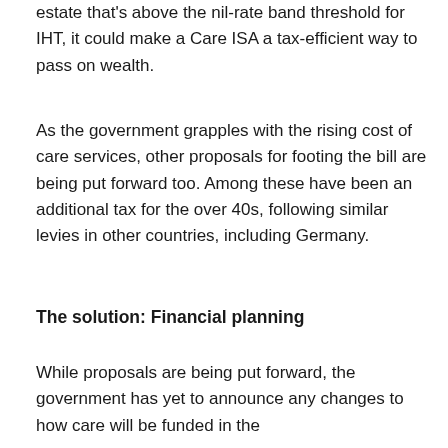estate that's above the nil-rate band threshold for IHT, it could make a Care ISA a tax-efficient way to pass on wealth.
As the government grapples with the rising cost of care services, other proposals for footing the bill are being put forward too. Among these have been an additional tax for the over 40s, following similar levies in other countries, including Germany.
The solution: Financial planning
While proposals are being put forward, the government has yet to announce any changes to how care will be funded in the